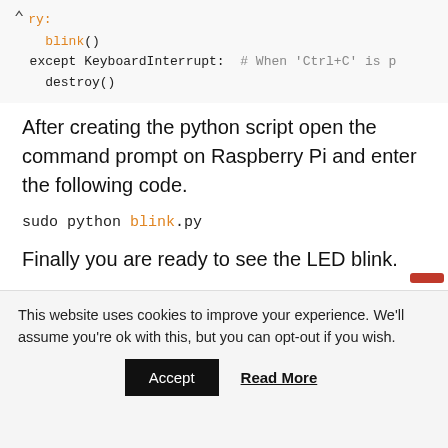try:
    blink()
except KeyboardInterrupt:  # When 'Ctrl+C' is p
    destroy()
After creating the python script open the command prompt on Raspberry Pi and enter the following code.
sudo python blink.py
Finally you are ready to see the LED blink.
This website uses cookies to improve your experience. We'll assume you're ok with this, but you can opt-out if you wish.
Accept
Read More